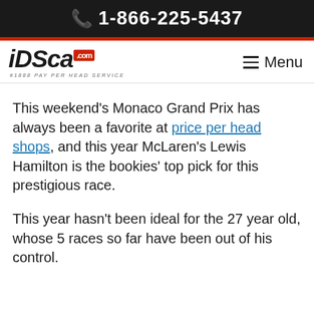1-866-225-5437
[Figure (logo): iDSca.com #1 PAY PER HEAD SERVICE logo with red badge and Menu hamburger icon]
This weekend's Monaco Grand Prix has always been a favorite at price per head shops, and this year McLaren's Lewis Hamilton is the bookies' top pick for this prestigious race.
This year hasn't been ideal for the 27 year old, whose 5 races so far have been out of his control.